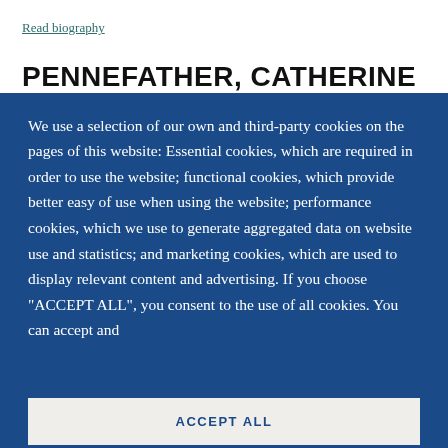Read biography
PENNEFATHER, CATHERINE
We use a selection of our own and third-party cookies on the pages of this website: Essential cookies, which are required in order to use the website; functional cookies, which provide better easy of use when using the website; performance cookies, which we use to generate aggregated data on website use and statistics; and marketing cookies, which are used to display relevant content and advertising. If you choose "ACCEPT ALL", you consent to the use of all cookies. You can accept and
ACCEPT ALL